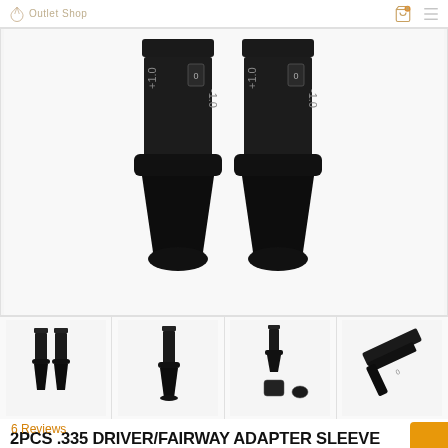Outlet Shop
[Figure (photo): Two black golf club adapter sleeves (.335 driver/fairway) shown close up, with adjustment markings visible (0, +1.0, -1.0)]
[Figure (photo): Thumbnail 1: Two black golf adapter sleeves side by side, full view]
[Figure (photo): Thumbnail 2: Single black golf adapter sleeve, full view]
[Figure (photo): Thumbnail 3: Golf adapter sleeve disassembled showing components]
[Figure (photo): Thumbnail 4: Golf adapter sleeve at an angle]
2PCS .335 DRIVER/FAIRWAY ADAPTER SLEEVE FIT Ping G425, G410,G410 PLUS, MAX, SFT
6 Reviews